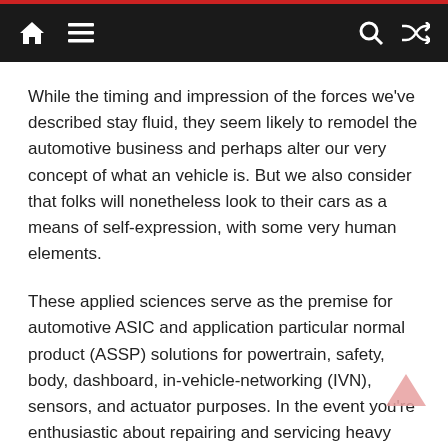Navigation bar with home, menu, search, and shuffle icons
While the timing and impression of the forces we've described stay fluid, they seem likely to remodel the automotive business and perhaps alter our very concept of what an vehicle is. But we also consider that folks will nonetheless look to their cars as a means of self-expression, with some very human elements.
These applied sciences serve as the premise for automotive ASIC and application particular normal product (ASSP) solutions for powertrain, safety, body, dashboard, in-vehicle-networking (IVN), sensors, and actuator purposes. In the event you're enthusiastic about repairing and servicing heavy plant and tools, heavy street transport autos, ...